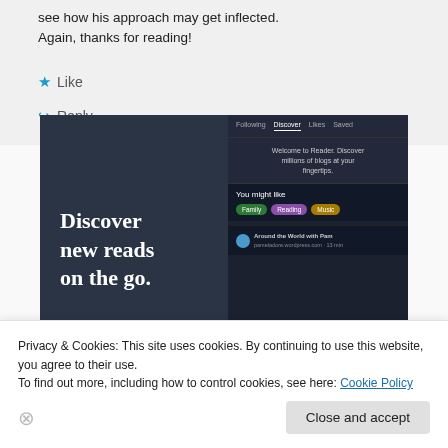see how his approach may get inflected. Again, thanks for reading!
★ Like
↪ Reply
[Figure (screenshot): WordPress Reader app promotional banner showing 'Discover new reads on the go.' on dark background with mobile UI showing Following/Discover/Likes/Saved tabs, You might like section with Family/Reading/Music tags, and Around the World with Pam listing.]
Privacy & Cookies: This site uses cookies. By continuing to use this website, you agree to their use.
To find out more, including how to control cookies, see here: Cookie Policy
Close and accept